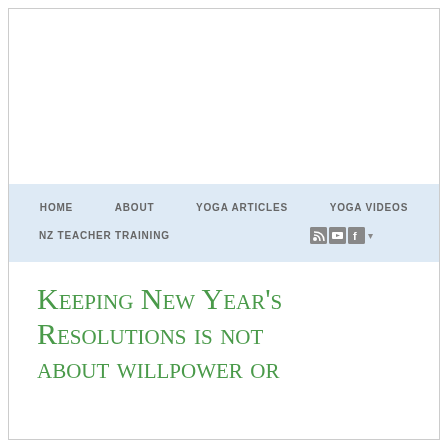HOME  ABOUT  YOGA ARTICLES  YOGA VIDEOS  NZ TEACHER TRAINING
Keeping New Year's Resolutions is not about willpower or